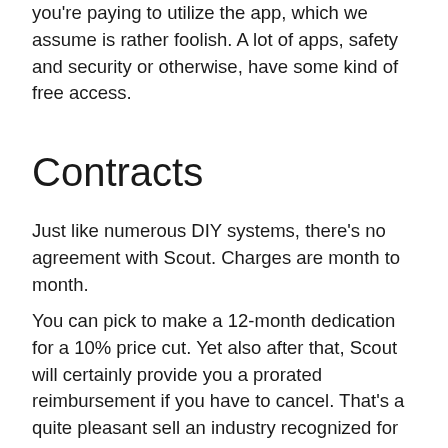you're paying to utilize the app, which we assume is rather foolish. A lot of apps, safety and security or otherwise, have some kind of free access.
Contracts
Just like numerous DIY systems, there's no agreement with Scout. Charges are month to month.
You can pick to make a 12-month dedication for a 10% price cut. Yet also after that, Scout will certainly provide you a prorated reimbursement if you have to cancel. That's a quite pleasant sell an industry recognized for wringing steep cancellation costs out of clients.